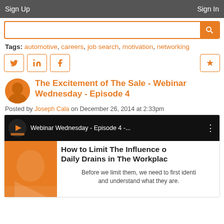Sign Up    Sign In
Tags: automotive, careers, job search, motivation, networking
[Figure (screenshot): Social share buttons: Twitter, LinkedIn, Facebook, and a star/bookmark button]
The Excitement of The Sale - Webinar Wednesday - Episode 4
Posted by Joseph Cala on December 26, 2014 at 2:33pm
[Figure (screenshot): Embedded video thumbnail: Webinar Wednesday - Episode 4 - How to Limit The Influence of Daily Drains in The Workplace. Before we limit them, we need to first identify and understand what they are.]